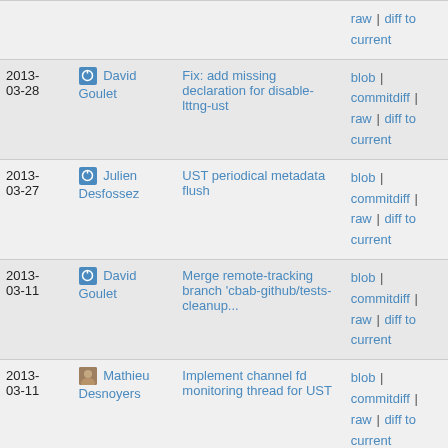| Date | Author | Commit | Actions |
| --- | --- | --- | --- |
|  |  |  | raw | diff to current |
| 2013-03-28 | David Goulet | Fix: add missing declaration for disable-lttng-ust | blob | commitdiff | raw | diff to current |
| 2013-03-27 | Julien Desfossez | UST periodical metadata flush | blob | commitdiff | raw | diff to current |
| 2013-03-11 | David Goulet | Merge remote-tracking branch 'cbab-github/tests-cleanup... | blob | commitdiff | raw | diff to current |
| 2013-03-11 | Mathieu Desnoyers | Implement channel fd monitoring thread for UST | blob | commitdiff | raw | diff to current |
| 2013-03-01 | David Goulet | Move metadata creation into lttng-sessiond and lttng... | blob | commitdiff | raw | diff to |